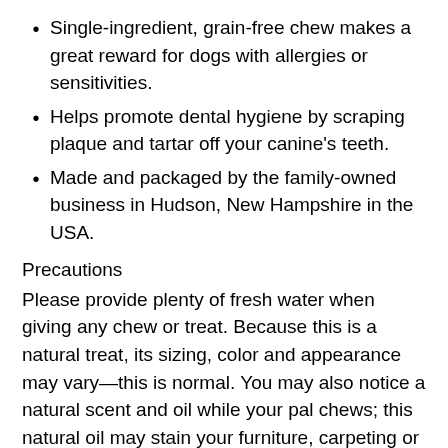Single-ingredient, grain-free chew makes a great reward for dogs with allergies or sensitivities.
Helps promote dental hygiene by scraping plaque and tartar off your canine's teeth.
Made and packaged by the family-owned business in Hudson, New Hampshire in the USA.
Precautions
Please provide plenty of fresh water when giving any chew or treat. Because this is a natural treat, its sizing, color and appearance may vary—this is normal. You may also notice a natural scent and oil while your pal chews; this natural oil may stain your furniture, carpeting or other surfaces. To prevent injury and choking hazard, please watch your pet while they enjoy this treat and be sure to choose the appropriate size